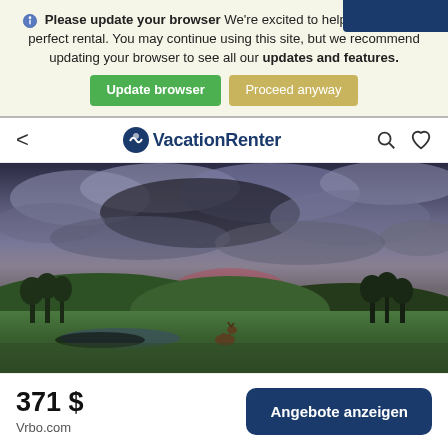Please update your browser We're excited to help you find your perfect rental. You may continue using this site, but we recommend updating your browser to see all our updates and features.
Update browser | Proceed anyway
VacationRenter
[Figure (photo): Scenic landscape photo showing rolling green hills under a dramatic stormy sky with purple and red hues at sunset or dusk, with a small deer visible near a pond or stream in the foreground, and trees lining the background.]
371 $
Vrbo.com
Angebote anzeigen